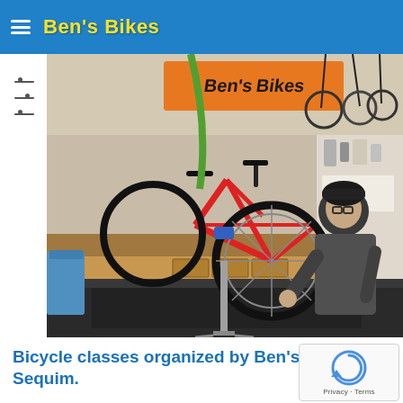Ben's Bikes
[Figure (photo): A mechanic in a black beanie and dark work vest works on a red bicycle mounted on a repair stand inside a bike shop. The shop has tools and parts displayed on pegboards and shelves in the background. An orange banner with the Ben's Bikes logo is visible at the top.]
Bicycle classes organized by Ben's Bikes Sequim.